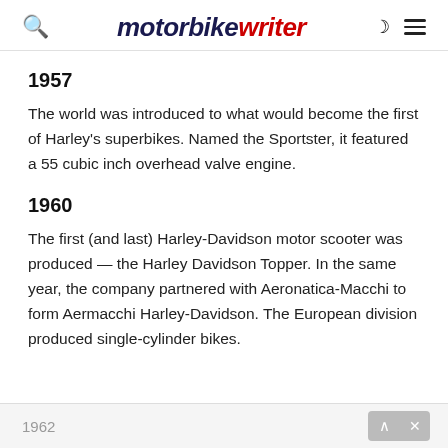motorbike writer
1957
The world was introduced to what would become the first of Harley's superbikes. Named the Sportster, it featured a 55 cubic inch overhead valve engine.
1960
The first (and last) Harley-Davidson motor scooter was produced — the Harley Davidson Topper. In the same year, the company partnered with Aeronatica-Macchi to form Aermacchi Harley-Davidson. The European division produced single-cylinder bikes.
1962